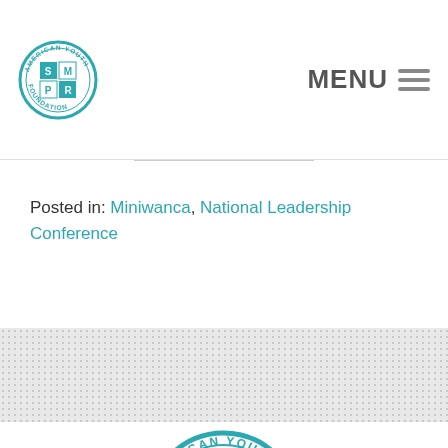[Figure (logo): American Youth Foundation circular logo with P, S, M, R letters in teal/blue checkered pattern]
MENU
Posted in: Miniwanca, National Leadership Conference
[Figure (logo): American Youth Foundation large circular logo centered at bottom of page]